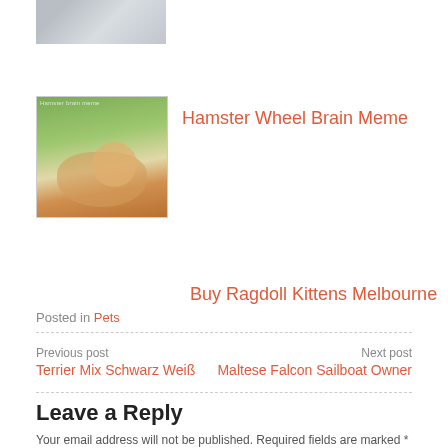[Figure (photo): Partially visible grey/blurred image at top]
[Figure (photo): Hamster on wheel outdoors, green background]
Hamster Wheel Brain Meme
Buy Ragdoll Kittens Melbourne
Posted in Pets
Previous post
Terrier Mix Schwarz Weiß
Next post
Maltese Falcon Sailboat Owner
Leave a Reply
Your email address will not be published. Required fields are marked *